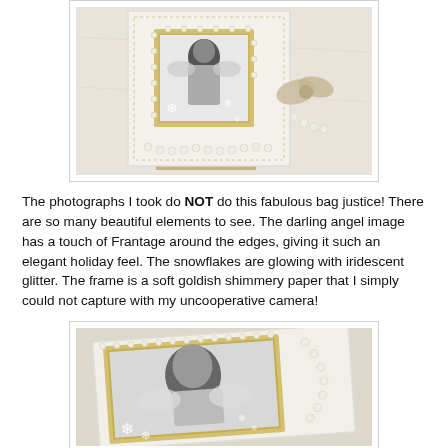[Figure (photo): A decorated craft gift bag with an angel image framed in gold shimmer paper, adorned with snowflakes, iridescent glitter, pearls, and a bow — photographed against a light background with string lights]
The photographs I took do NOT do this fabulous bag justice! There are so many beautiful elements to see. The darling angel image has a touch of Frantage around the edges, giving it such an elegant holiday feel. The snowflakes are glowing with iridescent glitter. The frame is a soft goldish shimmery paper that I simply could not capture with my uncooperative camera!
[Figure (photo): A close-up of a decorated craft card/tag featuring a vintage angel image, gold shimmer frame, pearl embellishments, and snowflake decorations]